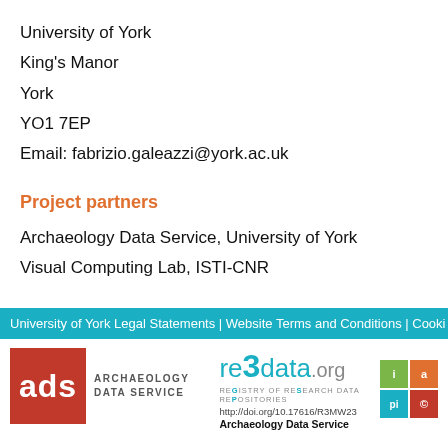University of York
King's Manor
York
YO1 7EP
Email: fabrizio.galeazzi@york.ac.uk
Project partners
Archaeology Data Service, University of York
Visual Computing Lab, ISTI-CNR
University of York Legal Statements | Website Terms and Conditions | Cooki
[Figure (logo): ADS Archaeology Data Service logo - red box with white 'ads' text and grey 'ARCHAEOLOGY DATA SERVICE' text]
[Figure (logo): re3data.org - Registry of Research Data Repositories logo with teal text and colored icon boxes, with Archaeology Data Service branding and DOI http://doi.org/10.17616/R3MW23]